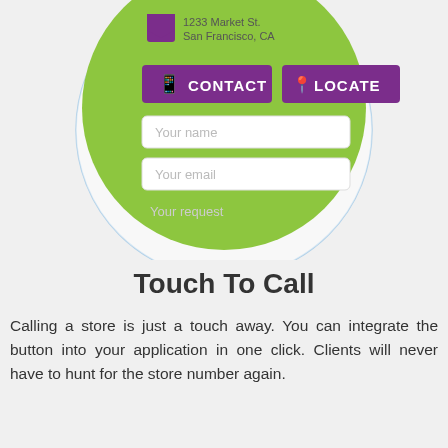[Figure (screenshot): A mobile app UI screenshot showing a circular green widget with address '1233 Market St, San Francisco, CA', two purple buttons labeled CONTACT and LOCATE with icons, and two white input fields labeled 'Your name' and 'Your email', plus a 'Your request' text field at the bottom of the circle on a light blue background.]
Touch To Call
Calling a store is just a touch away. You can integrate the button into your application in one click. Clients will never have to hunt for the store number again.